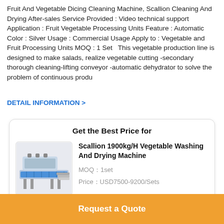Fruit And Vegetable Dicing Cleaning Machine, Scallion Cleaning And Drying After-sales Service Provided : Video technical support Application : Fruit Vegetable Processing Units Feature : Automatic Color : Silver Usage : Commercial Usage Apply to : Vegetable and Fruit Processing Units MOQ : 1 Set  This vegetable production line is designed to make salads, realize vegetable cutting -secondary thorough cleaning-lifting conveyor -automatic dehydrator to solve the problem of continuous produ
DETAIL INFORMATION >
Get the Best Price for
[Figure (photo): Photo of Scallion 1900kg/H Vegetable Washing And Drying Machine — industrial conveyor-style machine in blue/silver]
Scallion 1900kg/H Vegetable Washing And Drying Machine
MOQ：1set
Price：USD7500-9200/Sets
Continue
Request a Quote